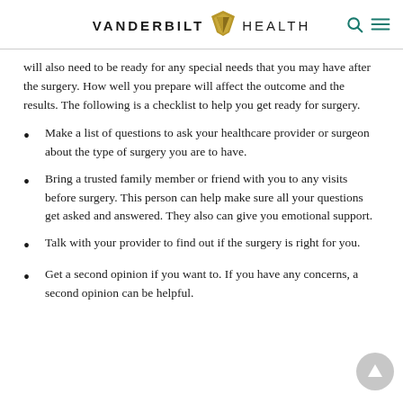VANDERBILT HEALTH
will also need to be ready for any special needs that you may have after the surgery. How well you prepare will affect the outcome and the results. The following is a checklist to help you get ready for surgery.
Make a list of questions to ask your healthcare provider or surgeon about the type of surgery you are to have.
Bring a trusted family member or friend with you to any visits before surgery. This person can help make sure all your questions get asked and answered. They also can give you emotional support.
Talk with your provider to find out if the surgery is right for you.
Get a second opinion if you want to. If you have any concerns, a second opinion can be helpful.